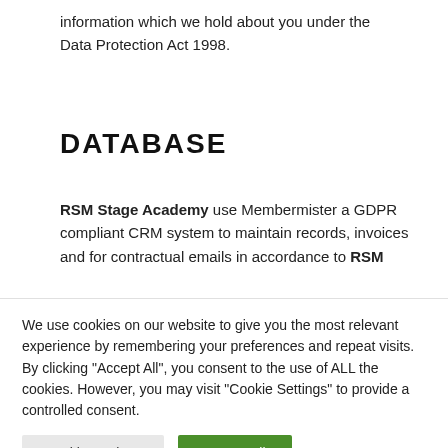information which we hold about you under the Data Protection Act 1998.
DATABASE
RSM Stage Academy use Membermister a GDPR compliant CRM system to maintain records, invoices and for contractual emails in accordance to RSM
We use cookies on our website to give you the most relevant experience by remembering your preferences and repeat visits. By clicking "Accept All", you consent to the use of ALL the cookies. However, you may visit "Cookie Settings" to provide a controlled consent.
Cookie Settings
Accept All